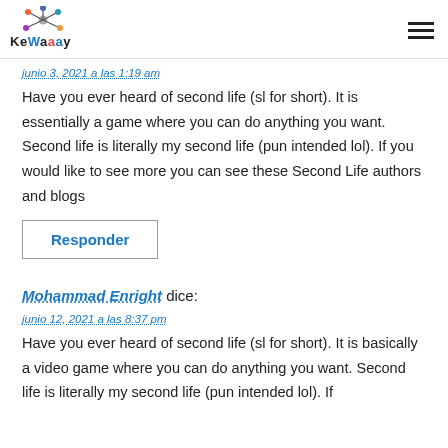KeWaaay
junio 3, 2021 a las 1:19 am
Have you ever heard of second life (sl for short). It is essentially a game where you can do anything you want. Second life is literally my second life (pun intended lol). If you would like to see more you can see these Second Life authors and blogs
Responder
Mohammad Enright dice:
junio 12, 2021 a las 8:37 pm
Have you ever heard of second life (sl for short). It is basically a video game where you can do anything you want. Second life is literally my second life (pun intended lol). If